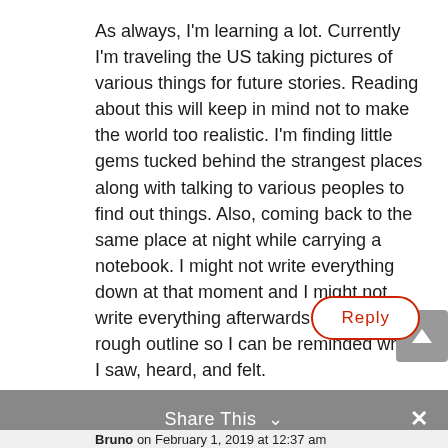As always, I'm learning a lot. Currently I'm traveling the US taking pictures of various things for future stories. Reading about this will keep in mind not to make the world too realistic. I'm finding little gems tucked behind the strangest places along with talking to various peoples to find out things. Also, coming back to the same place at night while carrying a notebook. I might not write everything down at that moment and I might not write everything afterwards but I write a rough outline so I can be reminded what I saw, heard, and felt.

The other thing is the artist being interested in world-building. That I have not thought too much.
Reply
Share This ∨  ×
Bruno on February 1, 2019 at 12:37 am